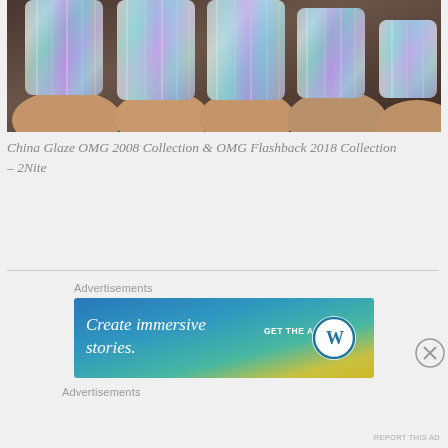[Figure (photo): Close-up photo of a hand with nails painted in holographic/iridescent blue nail polish with rainbow shimmer effect]
China Glaze OMG 2008 Collection & OMG Flashback 2018 Collection – 2Nite
[Figure (infographic): WordPress advertisement banner with gradient blue-green-yellow background. Text reads: Create immersive stories. GET THE APP with WordPress logo circle.]
Advertisements
Advertisements